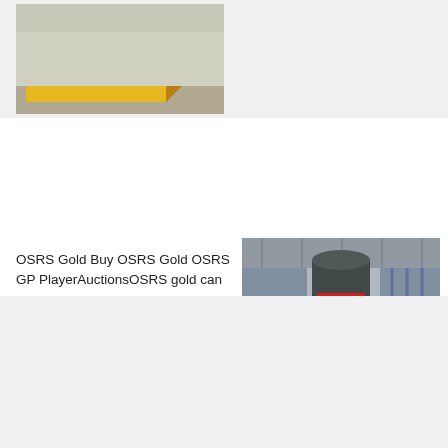[Figure (photo): Yellow industrial box/container in a warehouse with a person visible in the background]
OSRS Gold Buy OSRS Gold OSRS GP PlayerAuctionsOSRS gold can be bought from gold sellers Across
[Figure (photo): Large industrial mining/milling machine in a factory or industrial hall]
[Figure (photo): Mobile mining crushing or screening equipment outdoors with buildings and blue sky in background]
PureGold Delivers First Ore to the Mill- With ore delivered and first gold production scheduled this